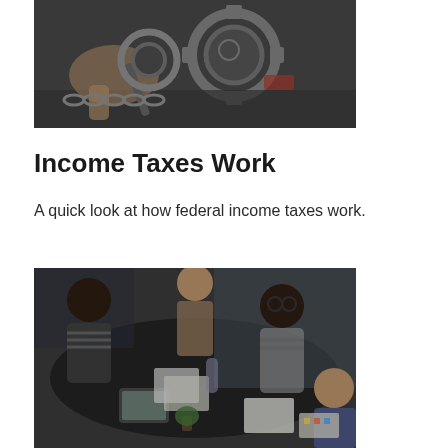[Figure (photo): Close-up photo of hands working on mechanical gears and engine components with tools]
Income Taxes Work
A quick look at how federal income taxes work.
[Figure (photo): Overhead photo of a group of people sitting around a dark table having a business meeting, with documents and a tablet visible]